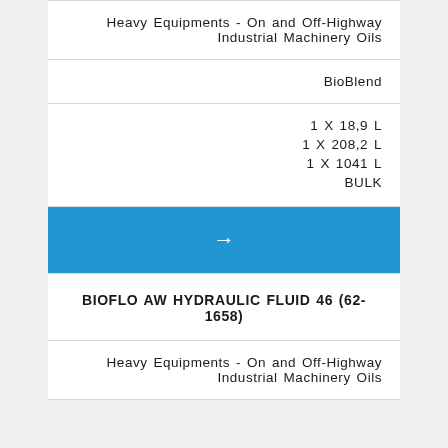Heavy Equipments - On and Off-Highway
Industrial Machinery Oils
BioBlend
1 X 18,9 L
1 X 208,2 L
1 X 1041 L
BULK
[Figure (other): Blue arrow button bar pointing right]
BIOFLO AW HYDRAULIC FLUID 46 (62-1658)
Heavy Equipments - On and Off-Highway
Industrial Machinery Oils